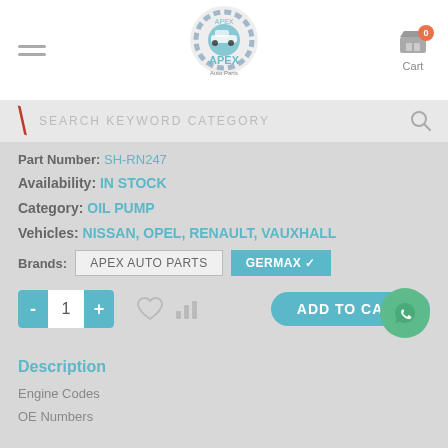[Figure (logo): APEX Auto Parts logo with gear and car graphic]
Cart
SEARCH KEYWORD CATEGORY
Part Number: SH-RN247
Availability: IN STOCK
Category: OIL PUMP
Vehicles: NISSAN, OPEL, RENAULT, VAUXHALL
Brands: APEX AUTO PARTS  GERMAX ✓
1
ADD TO CART
Description
Engine Codes
OE Numbers